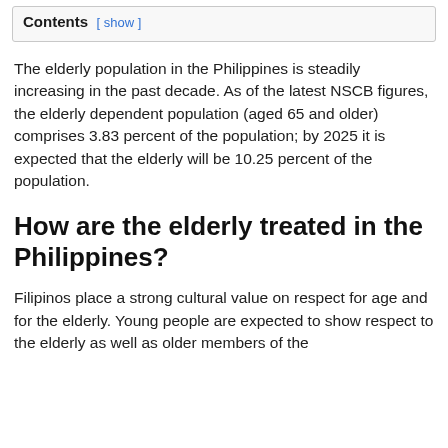Contents [ show ]
The elderly population in the Philippines is steadily increasing in the past decade. As of the latest NSCB figures, the elderly dependent population (aged 65 and older) comprises 3.83 percent of the population; by 2025 it is expected that the elderly will be 10.25 percent of the population.
How are the elderly treated in the Philippines?
Filipinos place a strong cultural value on respect for age and for the elderly. Young people are expected to show respect to the elderly as well as older members of the